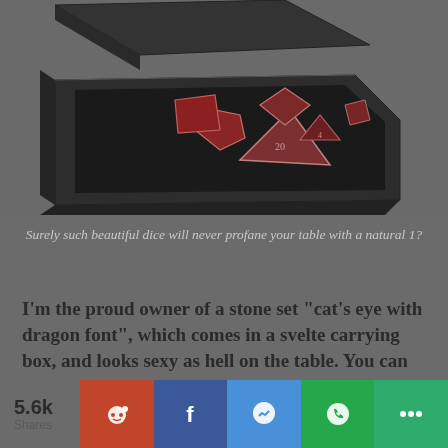[Figure (photo): A dark box open with polyhedral dice (stone 'cat's eye with dragon font' set) inside, showing various dice types including d4, d6, d8, d12, d20 in reddish-brown tones on a dark background.]
Surely such beautiful dice will never profane your table with a natural 1?
I'm the proud owner of a stone set "cat's eye with dragon font", which comes in a svelte carrying box, and looks sexy as hell on the table. You can check out their entire stone dice collection here.